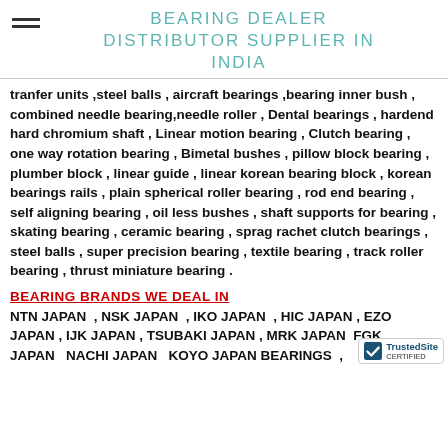BEARING DEALER DISTRIBUTOR SUPPLIER IN INDIA
tranfer units ,steel balls , aircraft bearings ,bearing inner bush , combined needle bearing,needle roller , Dental bearings , hardend hard chromium shaft , Linear motion bearing , Clutch bearing , one way rotation bearing , Bimetal bushes , pillow block bearing , plumber block , linear guide , linear korean bearing block , korean bearings rails , plain spherical roller bearing , rod end bearing , self aligning bearing , oil less bushes , shaft supports for bearing , skating bearing , ceramic bearing , sprag rachet clutch bearings , steel balls , super precision bearing , textile bearing , track roller bearing , thrust miniature bearing .
BEARING BRANDS WE DEAL IN
NTN JAPAN , NSK JAPAN , IKO JAPAN , HIC JAPAN , EZO JAPAN , IJK JAPAN , TSUBAKI JAPAN , MRK JAPAN , FCK JAPAN , NACHI JAPAN , KOYO JAPAN BEARINGS ,